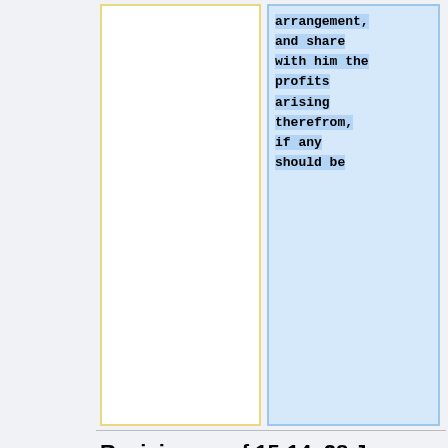[Figure (other): Wikipedia diff view showing two panels: left panel (old version) is blank/white with yellow border, right panel (new version) shows highlighted text in monospace: 'arrangement, and share with him the profits arising therefrom, if any should be']
Revision as of 15:14, 28 June 2021
The Answer of German Jordan to the bill of Complaint exhibited against him in the Circuit Superior Court of Law and Chancery for the County of Campbell by John Rosser This defendant saving and reserving to himself the benefit of all exception to the said bill for answer thereto, or to so much thereof as he is